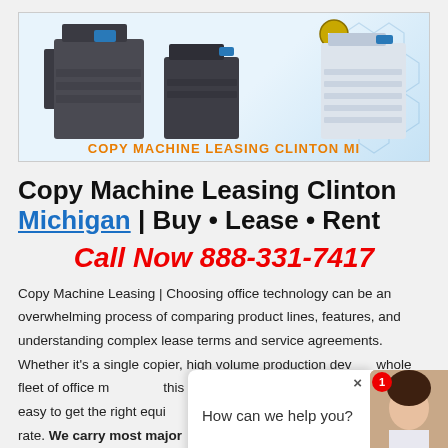[Figure (photo): Banner image showing three large office copy machines/multifunction printers on a light blue geometric background. Orange text overlay reads COPY MACHINE LEASING CLINTON MI. A gold circular DLJ badge is in the upper right area.]
Copy Machine Leasing Clinton Michigan | Buy • Lease • Rent
Call Now 888-331-7417
Copy Machine Leasing | Choosing office technology can be an overwhelming process of comparing product lines, features, and understanding complex lease terms and service agreements. Whether it's a single copier, high-volume production device, whole fleet of office machines... This is a copier sales company that makes it easy to get the right equipment for your needs at the most effective rate. We carry most major
[Figure (illustration): Chat popup overlay showing a woman avatar and the text 'How can we help you?' with a red notification badge showing number 1 and an X close button]